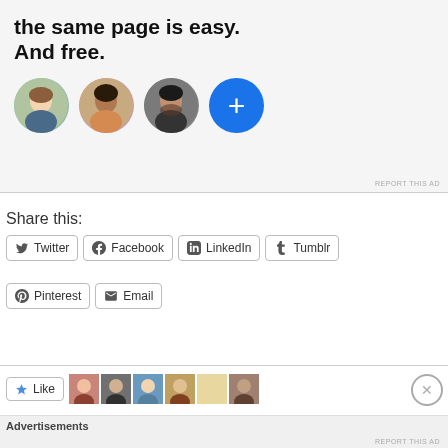[Figure (screenshot): Advertisement banner with bold headline 'the same page is easy. And free.' with three person avatars and a blue plus circle button. 'REPORT THIS AD' text at bottom right.]
Share this:
Twitter  Facebook  LinkedIn  Tumblr  Pinterest  Email
[Figure (screenshot): Facebook Like button with star icon and row of small avatar photos]
Advertisements